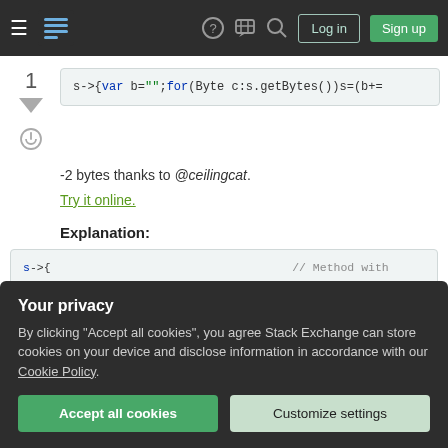Stack Exchange navigation bar with hamburger menu, logo, help, chat, search, Log in, Sign up
s->{var b="";for(Byte c:s.getBytes())s=(b+=
-2 bytes thanks to @ceilingcat.
Try it online.
Explanation:
s->{	// Method with
   var b="";	//  Binary-Stri
   for(Byte c:s.getBytes())	//  Loop over t
Your privacy
By clicking "Accept all cookies", you agree Stack Exchange can store cookies on your device and disclose information in accordance with our Cookie Policy.
Accept all cookies
Customize settings
s.replaceFirst( _ ,   //  Replace t
   (char)(97+a.valueOf(b,2))